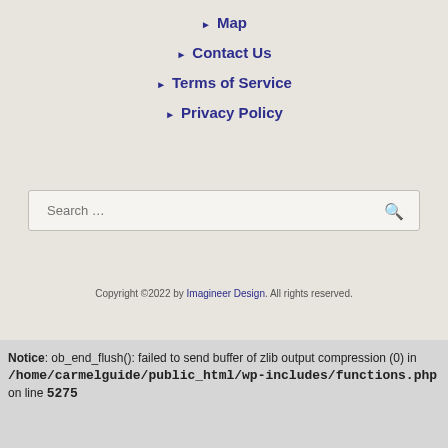▶ Map
▶ Contact Us
▶ Terms of Service
▶ Privacy Policy
Search …
Copyright ©2022 by Imagineer Design. All rights reserved.
Notice: ob_end_flush(): failed to send buffer of zlib output compression (0) in /home/carmelguide/public_html/wp-includes/functions.php on line 5275